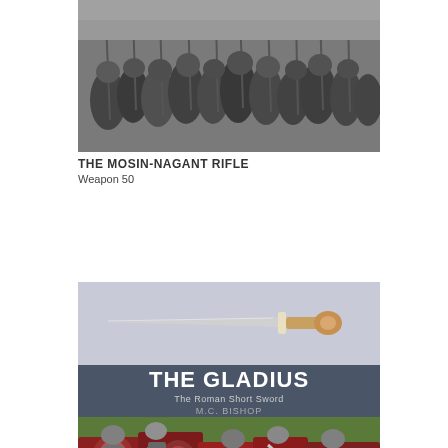[Figure (photo): Black and white photograph of soldiers holding rifles, top portion of book cover for The Mosin-Nagant Rifle]
THE MOSIN-NAGANT RIFLE
Weapon 50
[Figure (photo): Book cover for The Gladius: The Roman Short Sword by M.C. Bishop. Top half shows a photo of a gladius sword on light background; middle section is dark slate with title text; bottom shows illustrated Roman soldiers in battle.]